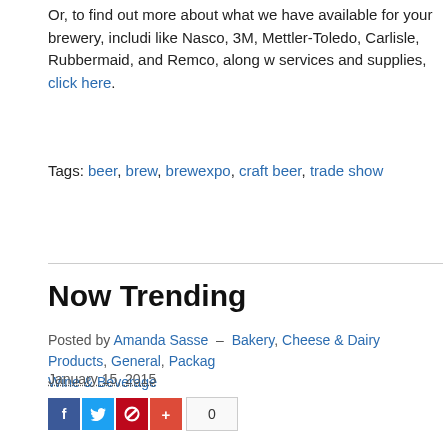Or, to find out more about what we have available for your brewery, including brands like Nasco, 3M, Mettler-Toledo, Carlisle, Rubbermaid, and Remco, along with other services and supplies, click here.
Tags: beer, brew, brewexpo, craft beer, trade show
Now Trending
Posted by Amanda Sasse – Bakery, Cheese & Dairy Products, General, Packaging, Wine & Beverage
January 15, 2015
[Figure (other): Social sharing buttons: Facebook, Twitter, Pinterest, Google+, and share count of 0]
At the beginning of each calendar year, The Wide Line publishes a blog summarizing food processing, restaurant and grocery trends. In preparation, we comb through blogs, briefs, articles and websites for the latest and greatest in the world of food, down to the pacesetters, the sure-bets and the must-knows. So, without further ado, fads that will most impact what we produce and consume in 2015:
Asian Invasion
Through travel and tech, the world's population is becoming